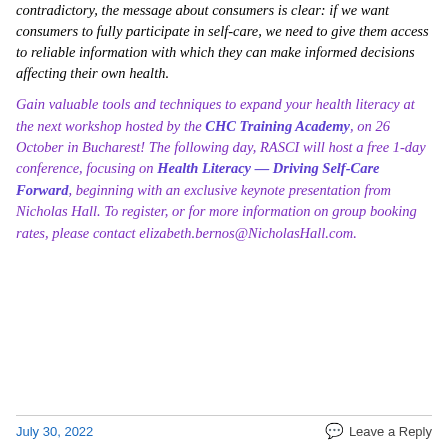contradictory, the message about consumers is clear: if we want consumers to fully participate in self-care, we need to give them access to reliable information with which they can make informed decisions affecting their own health.
Gain valuable tools and techniques to expand your health literacy at the next workshop hosted by the CHC Training Academy, on 26 October in Bucharest! The following day, RASCI will host a free 1-day conference, focusing on Health Literacy — Driving Self-Care Forward, beginning with an exclusive keynote presentation from Nicholas Hall. To register, or for more information on group booking rates, please contact elizabeth.bernos@NicholasHall.com.
July 30, 2022   Leave a Reply